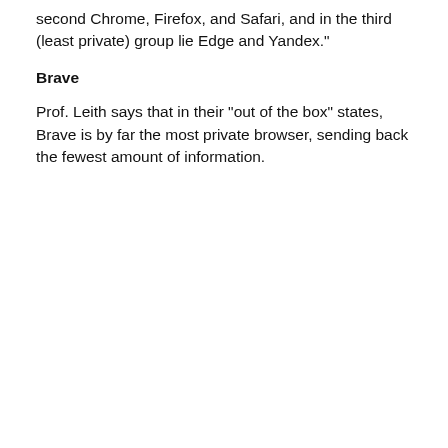second Chrome, Firefox, and Safari, and in the third (least private) group lie Edge and Yandex."
Brave
Prof. Leith says that in their "out of the box" states, Brave is by far the most private browser, sending back the fewest amount of information.